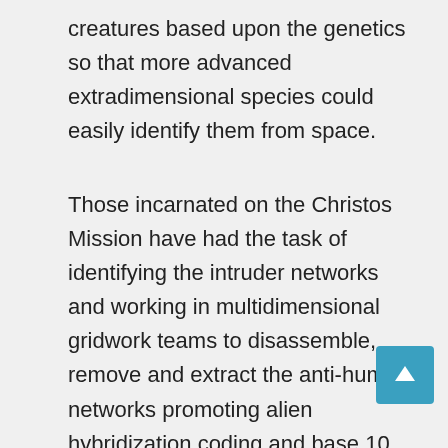creatures based upon the genetics so that more advanced extradimensional species could easily identify them from space.
Those incarnated on the Christos Mission have had the task of identifying the intruder networks and working in multidimensional gridwork teams to disassemble, remove and extract the anti-human networks promoting alien hybridization coding and base 10 current metatronic reversals. Those being systematically demolished now are the; Phoenix-Falcon grid, Serpent grid, Dragon Moth Grid, Jehovian-Dove grids, NET, NRG, and Michael-M Turnstile matrix. Much of the extensive mind control frequencies used to control and enslave humanity have sourced from these same intruder